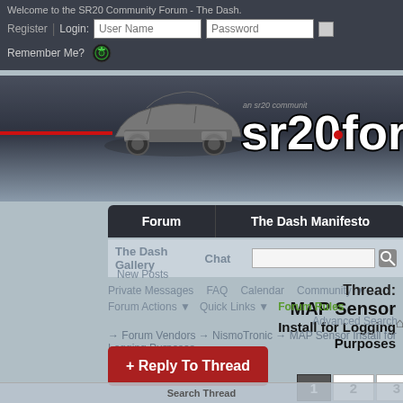Welcome to the SR20 Community Forum - The Dash.
Register | Login: User Name  Password  [checkbox]
Remember Me?
[Figure (screenshot): SR20 Forum banner with a silver car and sr20.forum logo on dark background]
Forum  |  The Dash Manifesto
The Dash Gallery  |  Chat
New Posts
Private Messages   FAQ   Calendar   Community ▼
Thread: MAP Sensor
Forum Actions ▼   Quick Links ▼   Forum Rules
Install for Logging Purposes
Advanced Search
→ Forum Vendors → NismoTronic → MAP Sensor Install for Logging Purposes
+ Reply To Thread
1  2  3  ▶  Last
Search Thread